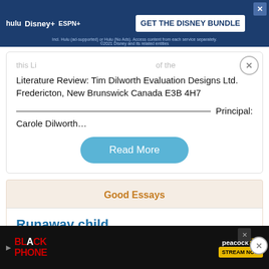[Figure (screenshot): Hulu Disney+ ESPN+ advertisement banner: GET THE DISNEY BUNDLE]
Literature Review: Tim Dilworth Evaluation Designs Ltd. Fredericton, New Brunswick Canada E3B 4H7
Principal: Carole Dilworth…
Read More
Good Essays
Runaway child
975 Words
4 Pages
Homelessness, specifically mentioned in early vagrancy laws, have existed since the early settlement of the United States. There...
[Figure (screenshot): Black Phone / Peacock STREAM NOW advertisement banner]